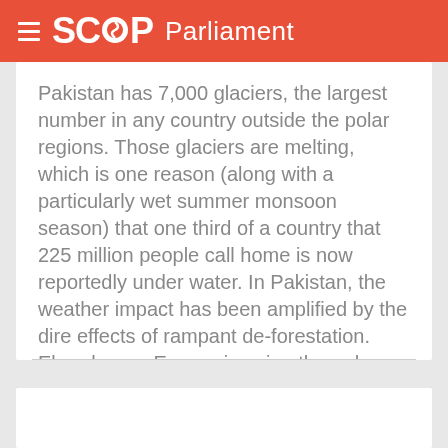SCOOP Parliament
Pakistan has 7,000 glaciers, the largest number in any country outside the polar regions. Those glaciers are melting, which is one reason (along with a particularly wet summer monsoon season) that one third of a country that 225 million people call home is now reportedly under water. In Pakistan, the weather impact has been amplified by the dire effects of rampant de-forestation. Elsewhere... Europe is going through what is reportedly its worst period of drought in half a millennium...
More>>